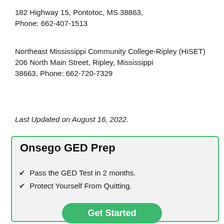182 Highway 15, Pontotoc, MS 38863, Phone: 662-407-1513
Northeast Mississippi Community College-Ripley (HiSET)
206 North Main Street, Ripley, Mississippi 38663, Phone: 662-720-7329
Last Updated on August 16, 2022.
Onsego GED Prep
Pass the GED Test in 2 months.
Protect Yourself From Quitting.